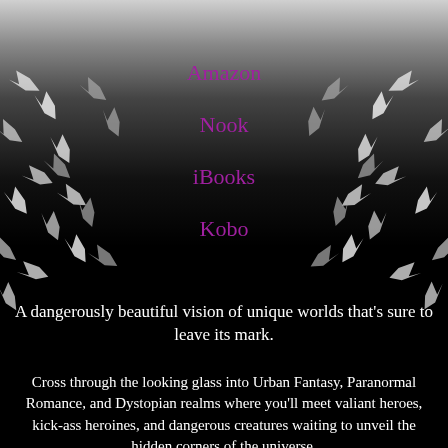Amazon
Nook
iBooks
Kobo
A dangerously beautiful vision of unique worlds that's sure to leave its mark.
Cross through the looking glass into Urban Fantasy, Paranormal Romance, and Dystopian realms where you'll meet valiant heroes, kick-ass heroines, and dangerous creatures waiting to unveil the hidden corners of the universe.
SIGILS & SPELLS includes more than twenty exclusive novels that roam the sands of Egypt, slip into the shadows of 1940s Los Angeles, voyage to the mystical land of Mabi, and dare to traverse